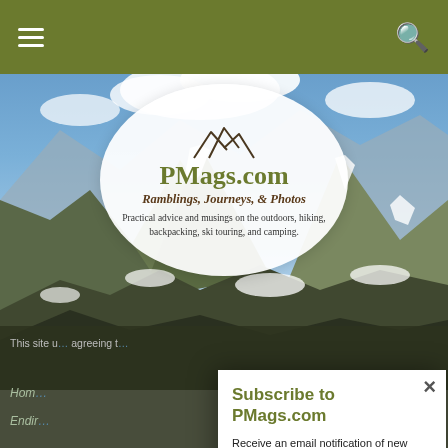PMags.com navigation bar with hamburger menu and search icon
[Figure (photo): Mountain landscape with rocky peaks, snow patches, and blue sky with clouds — hero banner image for PMags.com outdoor adventure website]
[Figure (logo): Oval white logo for PMags.com with mountain peak icon, site name 'PMags.com', tagline 'Ramblings, Journeys, & Photos', and description 'Practical advice and musings on the outdoors, hiking, backpacking, ski touring, and camping.']
This site u... agreeing t...
Hom... Endir...
Subscribe to PMags.com
Receive an email notification of new posts direct to your inbox once a week. Old school text email digest It is easy!
CLICK HERE TO SUBSCRIBE